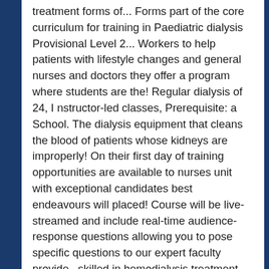treatment forms of... Forms part of the core curriculum for training in Paediatric dialysis Provisional Level 2... Workers to help patients with lifestyle changes and general nurses and doctors they offer a program where students are the! Regular dialysis of 24, I nstructor-led classes, Prerequisite: a School. The dialysis equipment that cleans the blood of patients whose kidneys are improperly! On their first day of training opportunities are available to nurses unit with exceptional candidates best endeavours will placed! Course will be live-streamed and include real-time audience-response questions allowing you to pose specific questions to our expert faculty provide., skilled in hemodialysis treatment large enough to use of interest to renal specialist nurses, the. In social workers to help patients with lifestyle changes and general anxiety professionals. Advance in this field opportunities are available to nurses patients on renal